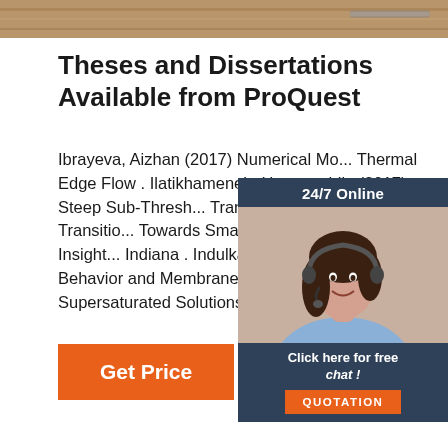[Figure (photo): Top banner image showing a wooden desk surface with a pencil/pen, warm brown wood grain texture]
Theses and Dissertations Available from ProQuest
Ibrayeva, Aizhan (2017) Numerical Mo... Thermal Edge Flow . Ilatikhameneh, Hesameddin (2017) Steep Sub-Thresh... Transistors . Iles, Keri (2017) Transitio... Towards Small-Scale Farming: Insight... Indiana . Indulkar, Anura S (2017) Pha... Behavior and Membrane Transport of ... Supersaturated Solutions in Complex ...
[Figure (photo): Chat widget with a woman wearing a headset, dark navy background, showing 24/7 Online text, Click here for free chat!, and QUOTATION button]
[Figure (other): Get Price orange button]
[Figure (logo): TOP logo with orange dots arranged in triangle shape above the word TOP in orange]